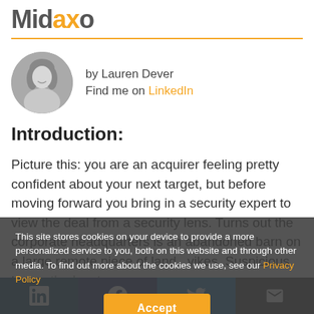Midaxo
[Figure (photo): Black and white circular portrait photo of Lauren Dever]
by Lauren Dever
Find me on LinkedIn
Introduction:
Picture this: you are an acquirer feeling pretty confident about your next target, but before moving forward you bring in a security expert to view the deal from a security lens. Turns out the corporate headquarters is an abandoned barn on a large remote piece of land...yikes. Suspicious to say the least.
This site stores cookies on your device to provide a more personalized service to you, both on this website and through other media. To find out more about the cookies we use, see our Privacy Policy
[Figure (screenshot): Social sharing bar with LinkedIn, Facebook, Twitter, and email icons]